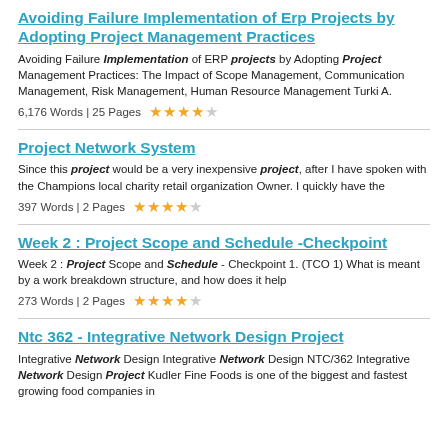Avoiding Failure Implementation of Erp Projects by Adopting Project Management Practices
Avoiding Failure Implementation of ERP projects by Adopting Project Management Practices: The Impact of Scope Management, Communication Management, Risk Management, Human Resource Management Turki A.
6,176 Words | 25 Pages ★★★★☆
Project Network System
Since this project would be a very inexpensive project, after I have spoken with the Champions local charity retail organization Owner. I quickly have the
397 Words | 2 Pages ★★★★☆
Week 2 : Project Scope and Schedule -Checkpoint
Week 2 : Project Scope and Schedule - Checkpoint 1. (TCO 1) What is meant by a work breakdown structure, and how does it help
273 Words | 2 Pages ★★★★☆
Ntc 362 - Integrative Network Design Project
Integrative Network Design Integrative Network Design NTC/362 Integrative Network Design Project Kudler Fine Foods is one of the biggest and fastest growing food companies in